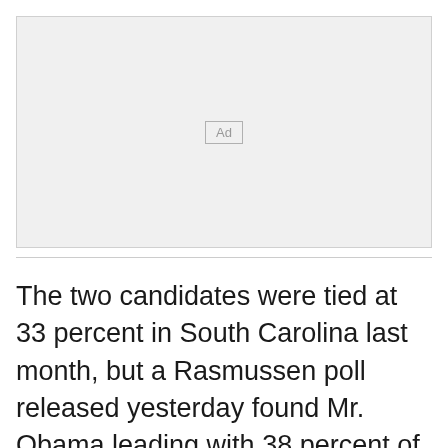[Figure (other): Advertisement placeholder box with 'Ad' label in center]
The two candidates were tied at 33 percent in South Carolina last month, but a Rasmussen poll released yesterday found Mr. Obama leading with 38 percent of the likely Democratic voters compared with Mrs. Clinton's 33 percent. Among black voters, Mr. Obama led Mrs. Clinton 52 percent to 36...